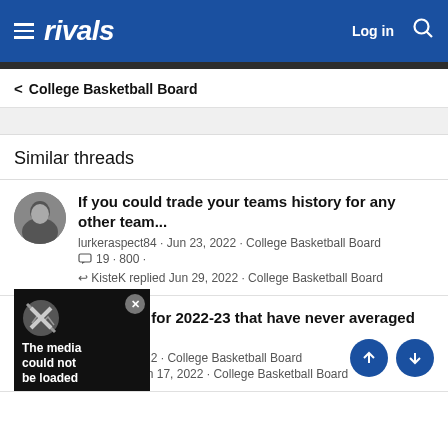rivals — Log in
< College Basketball Board
Similar threads
If you could trade your teams history for any other team... — lurkeraspect84 · Jun 23, 2022 · College Basketball Board — 19 · 800 · — KisteK replied Jun 29, 2022 · College Basketball Board
Starting 5 for 2022-23 that have never averaged 10+ — May 18, 2022 · College Basketball Board — replied Jun 17, 2022 · College Basketball Board
[Figure (screenshot): Media overlay showing 'The media could not be loaded' with X dismiss button and no-image icon]